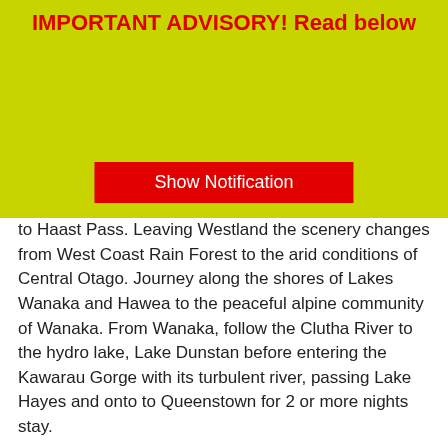IMPORTANT ADVISORY! Read below
[Figure (other): Red button labeled 'Show Notification' on yellow-green banner background]
to Haast Pass. Leaving Westland the scenery changes from West Coast Rain Forest to the arid conditions of Central Otago. Journey along the shores of Lakes Wanaka and Hawea to the peaceful alpine community of Wanaka. From Wanaka, follow the Clutha River to the hydro lake, Lake Dunstan before entering the Kawarau Gorge with its turbulent river, passing Lake Hayes and onto to Queenstown for 2 or more nights stay.
Travel Day 6: Queenstown to Milford Sound (Day Excursion)
By Scenic Coach - Depart: 7.20am - Return: 7.45pm
This morning is your day excursion to Milford Sound, leaving Queenstown by coach, skirting Lake Wakatipu and cross northern Southland to Te Anau, gateway to Fiordland region and Fiordland National Park. Travel through the remote